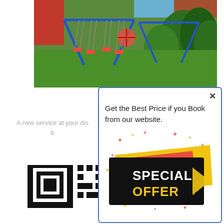[Figure (photo): Outdoor playground area with metal swing set with red seats, green lawn, plants and a pool in the background]
Airpo
A new service at your dis... tr...
[Figure (other): QR code image partially visible at bottom of page]
[Figure (other): Modal popup overlay with close X button, text 'Get the Best Price if you Book from our website.' and a Special Offer badge graphic in red, yellow, black with text SPECIAL OFFER]